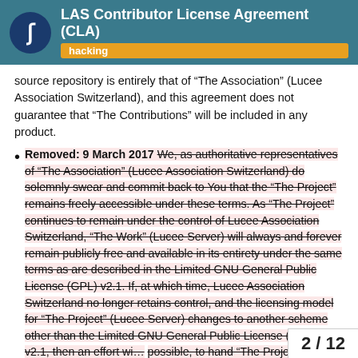LAS Contributor License Agreement (CLA) — hacking
source repository is entirely that of “The Association” (Lucee Association Switzerland), and this agreement does not guarantee that “The Contributions” will be included in any product.
Removed: 9 March 2017 We, as authoritative representatives of “The Association” (Lucee Association Switzerland) do solemnly swear and commit back to You that the “The Project” remains freely accessible under these terms. As “The Project” continues to remain under the control of Lucee Association Switzerland, “The Work” (Lucee Server) will always and forever remain publicly free and available in its entirety under the same terms as are described in the Limited GNU General Public License (GPL) v2.1. If, at which time, Lucee Association Switzerland no longer retains control, and the licensing model for “The Project” (Lucee Server) changes to another scheme other than the Limited GNU General Public License (GPL) v2.1, then an effort wi… possible, to hand “The Project” off to…
2 / 12